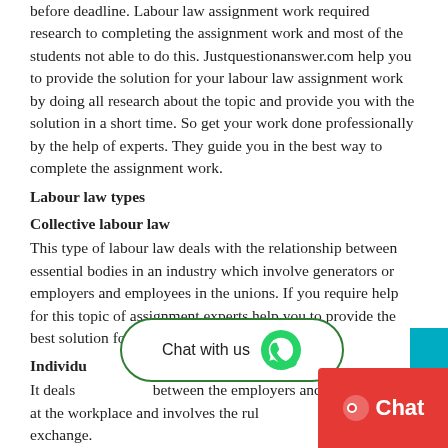before deadline. Labour law assignment work required research to completing the assignment work and most of the students not able to do this. Justquestionanswer.com help you to provide the solution for your labour law assignment work by doing all research about the topic and provide you with the solution in a short time. So get your work done professionally by the help of experts. They guide you in the best way to complete the assignment work.
Labour law types
Collective labour law
This type of labour law deals with the relationship between essential bodies in an industry which involve generators or employers and employees in the unions. If you require help for this topic of assignment experts help you to provide the best solution for that.
Individual labour law
It deals with the relationship between the employers and the employee at the workplace and involves the rules and ways for the exchange.
Topics for labour law
[Figure (other): WhatsApp 'Chat with us' bubble overlay with green WhatsApp icon]
[Figure (other): Red chat button in bottom-right corner with chat bubble icon and 'Chat' text]